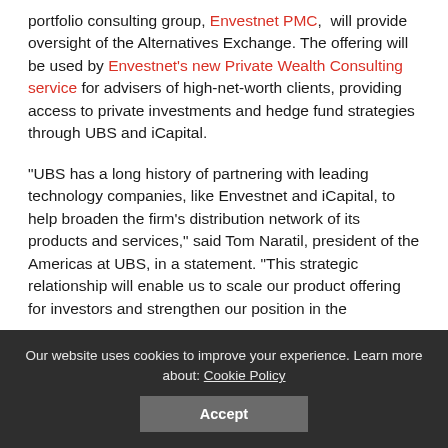portfolio consulting group, Envestnet PMC, will provide oversight of the Alternatives Exchange. The offering will be used by Envestnet's new Private Wealth Consulting service for advisers of high-net-worth clients, providing access to private investments and hedge fund strategies through UBS and iCapital.
“UBS has a long history of partnering with leading technology companies, like Envestnet and iCapital, to help broaden the firm’s distribution network of its products and services,” said Tom Naratil, president of the Americas at UBS, in a statement. “This strategic relationship will enable us to scale our product offering for investors and strengthen our position in the
Our website uses cookies to improve your experience. Learn more about: Cookie Policy
Accept